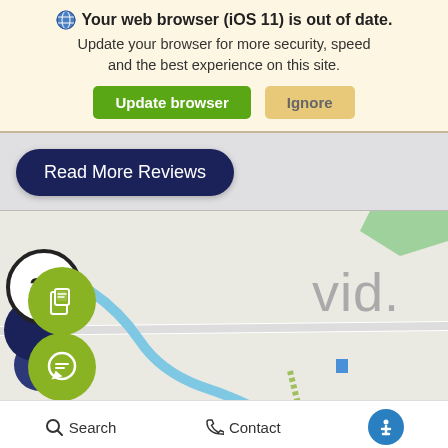Your web browser (iOS 11) is out of date. Update your browser for more security, speed and the best experience on this site.
[Figure (screenshot): Two buttons: green 'Update browser' and tan 'Ignore']
[Figure (screenshot): Dark navy rounded button labeled 'Read More Reviews']
[Figure (map): Street map showing route 21 marker, a winding blue river, partial city name 'vid.', green FAB chat buttons, dark navy location pin cluster, and bottom navigation bar with Search, Contact, and accessibility icon]